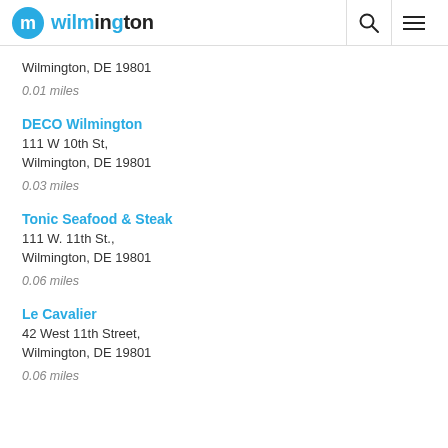wilmington
Wilmington, DE 19801
0.01 miles
DECO Wilmington
111 W 10th St,
Wilmington, DE 19801
0.03 miles
Tonic Seafood & Steak
111 W. 11th St.,
Wilmington, DE 19801
0.06 miles
Le Cavalier
42 West 11th Street,
Wilmington, DE 19801
0.06 miles